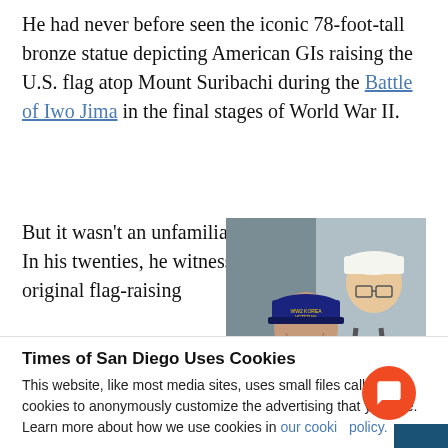He had never before seen the iconic 78-foot-tall bronze statue depicting American GIs raising the U.S. flag atop Mount Suribachi during the Battle of Iwo Jima in the final stages of World War II.
But it wasn't an unfamiliar sight. In his twenties, he witnessed the original flag-raising
[Figure (photo): Two men outdoors, one older man wearing a red shirt and a dark cap with 'WWII Korea Veteran' text, and a younger man in a white cap standing behind him smiling.]
Times of San Diego Uses Cookies
This website, like most media sites, uses small files called cookies to anonymously customize the advertising that you see. Learn more about how we use cookies in our cookie policy.